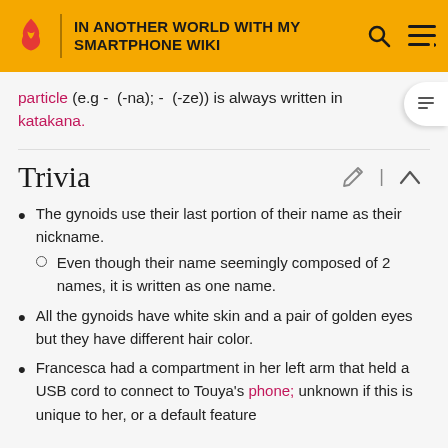IN ANOTHER WORLD WITH MY SMARTPHONE WIKI
particle (e.g - (-na); - (-ze)) is always written in katakana.
Trivia
The gynoids use their last portion of their name as their nickname.
Even though their name seemingly composed of 2 names, it is written as one name.
All the gynoids have white skin and a pair of golden eyes but they have different hair color.
Francesca had a compartment in her left arm that held a USB cord to connect to Touya's phone; unknown if this is unique to her, or a default feature